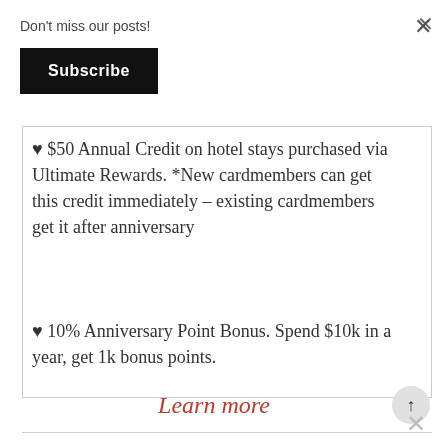Don't miss our posts!
Subscribe
× (close button top right)
♥ $50 Annual Credit on hotel stays purchased via Ultimate Rewards. *New cardmembers can get this credit immediately – existing cardmembers get it after anniversary
♥ 10% Anniversary Point Bonus. Spend $10k in a year, get 1k bonus points.
Learn more
× (close button bottom right)